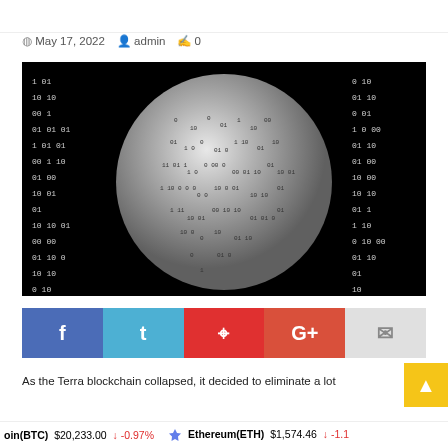May 17, 2022   admin   0
[Figure (illustration): A metallic globe/sphere covered with binary digits (0s and 1s) on a black background, symbolizing digital/blockchain technology. Binary code streams also visible on the dark background flanking the sphere.]
[Figure (infographic): Social share buttons row: Facebook (blue), Twitter (light blue), Pinterest (red), Google+ (orange-red), Email (light gray)]
As the Terra blockchain collapsed, it decided to eliminate a lot
oin(BTC)  $20,233.00  ↓  -0.97%     Ethereum(ETH)  $1,574.46  ↓  -1.1